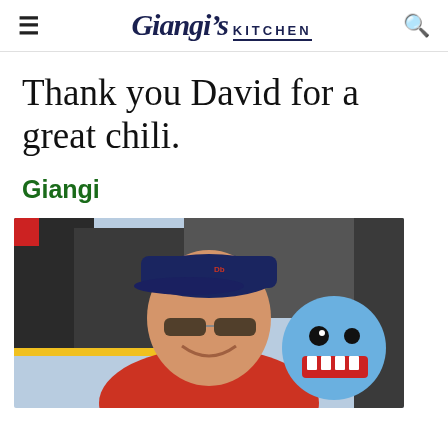Giangi's KITCHEN
Thank you David for a great chili.
Giangi
[Figure (photo): A man wearing a navy blue baseball cap and aviator sunglasses, smiling, dressed in a red t-shirt, holding a blue cartoon monster-face balloon, with dark background structures behind him.]